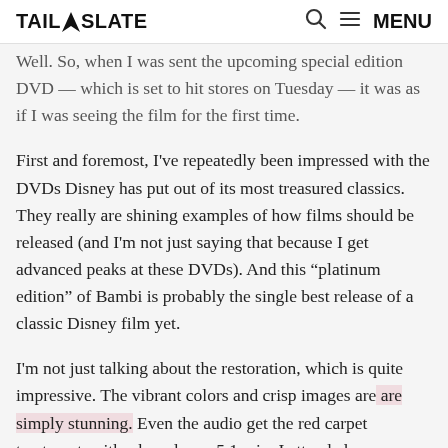TAIL SLATE — Menu
Well. So, when I was sent the upcoming special edition DVD — which is set to hit stores on Tuesday — it was as if I was seeing the film for the first time.
First and foremost, I've repeatedly been impressed with the DVDs Disney has put out of its most treasured classics. They really are shining examples of how films should be released (and I'm not just saying that because I get advanced peaks at these DVDs). And this “platinum edition” of Bambi is probably the single best release of a classic Disney film yet.
I'm not just talking about the restoration, which is quite impressive. The vibrant colors and crisp images are simply stunning. Even the audio get the red carpet treatment, with a brand new 5.1 mix. I attended a